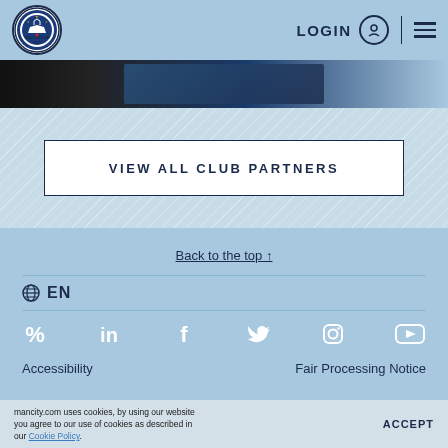Manchester City FC - LOGIN | Navigation menu
[Figure (screenshot): Hero image strip with Manchester City player in kit at top of page]
VIEW ALL CLUB PARTNERS
Back to the top ↑
🌐 EN
[Figure (infographic): Social media icons row: TikTok, LinkedIn, Facebook, Twitter, Instagram, YouTube]
Accessibility     Fair Processing Notice
mancity.com uses cookies, by using our website you agree to our use of cookies as described in our Cookie Policy. ACCEPT